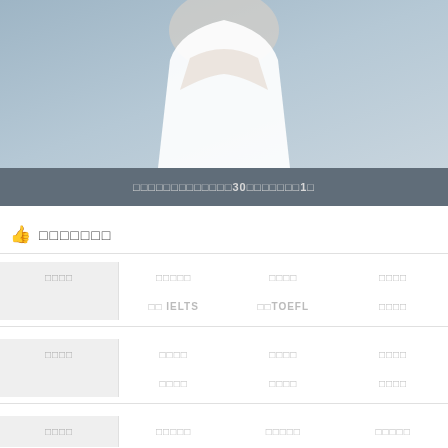[Figure (photo): Person in white dress against blue-grey background, cropped to torso]
□□□□□□□□□□□□□30□□□□□□□1□
□□□□□□□
| □□□□ | □□□□□ | □□□□ | □□□□ |
| --- | --- | --- | --- |
|  | □□ IELTS | □□TOEFL | □□□□ |
| □□□□ | □□□□ | □□□□ | □□□□ |
| --- | --- | --- | --- |
|  | □□□□ | □□□□ | □□□□ |
| □□□□ | □□□□□ | □□□□□ | □□□□□ |
| --- | --- | --- | --- |